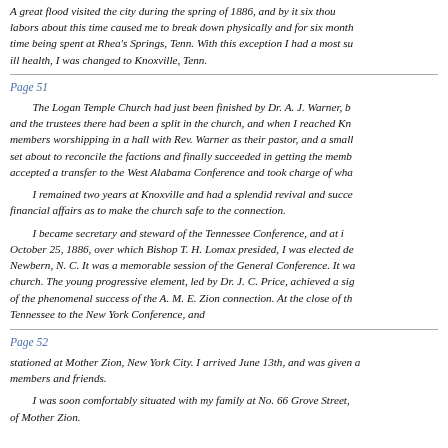A great flood visited the city during the spring of 1886, and by it six thousand dollars worth of property was destroyed. Excess of labors about this time caused me to break down physically and for six months I was compelled to rest, a portion of the time being spent at Rhea's Springs, Tenn. With this exception I had a most successful pastorate. On account of ill health, I was changed to Knoxville, Tenn.
Page 51
The Logan Temple Church had just been finished by Dr. A. J. Warner, but when I reached there I found that the trustees there had been a split in the church, and when I reached Knoxville I found about two-thirds of the members worshipping in a hall with Rev. Warner as their pastor, and a small minority in the church building. I set about to reconcile the factions and finally succeeded in getting the members together. Later Dr. Warner accepted a transfer to the West Alabama Conference and took charge of what is now known as the Warner church.
I remained two years at Knoxville and had a splendid revival and succeeded in placing the church upon such a financial affairs as to make the church safe to the connection.
I became secretary and steward of the Tennessee Conference, and at the General Conference held in Newbern, N. C. October 25, 1886, over which Bishop T. H. Lomax presided, I was elected delegate to the General Conference at Newbern, N. C. It was a memorable session of the General Conference. It was held at a time of great progress in the church. The young progressive element, led by Dr. J. C. Price, achieved a signal triumph. Dr. Price was the embodiment of the phenomenal success of the A. M. E. Zion connection. At the close of the conference I was transferred from Tennessee to the New York Conference, and
Page 52
stationed at Mother Zion, New York City. I arrived June 13th, and was given a magnificent reception by the members and friends.
I was soon comfortably situated with my family at No. 66 Grove Street, in the immediate vicinity of Mother Zion.